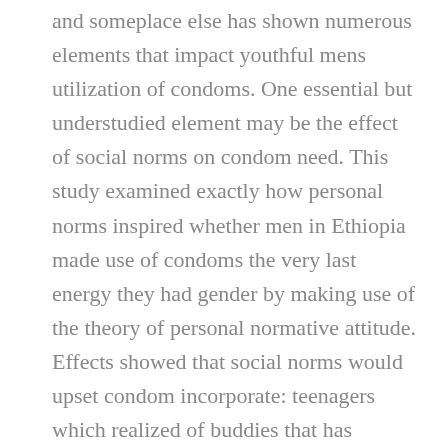and someplace else has shown numerous elements that impact youthful mens utilization of condoms. One essential but understudied element may be the effect of social norms on condom need. This study examined exactly how personal norms inspired whether men in Ethiopia made use of condoms the very last energy they had gender by making use of the theory of personal normative attitude. Effects showed that social norms would upset condom incorporate: teenagers which realized of buddies that has utilized condoms are prone to have tried condoms at last intercourse, and teenagers who have been perhaps not worried about what individuals would contemplate all of them if they learned they necessary condoms had been almost certainly going to have tried condoms